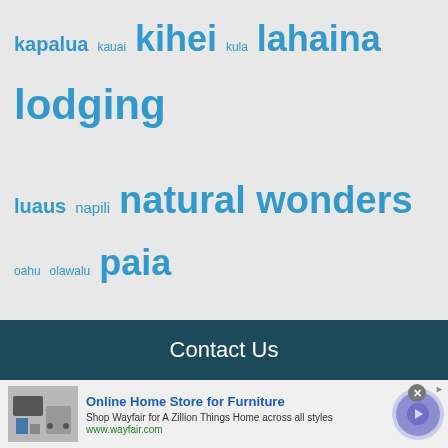kapalua kauai kihei kula lahaina lodging luaus napili natural wonders oahu olawalu paia poke restaurants safety shave ice snorkeling surfing swimming transportation wailea wailea-makena wailuku west maui what to bring when to go where to stay wildlife
Contact Us
[Figure (other): Advertisement banner: Online Home Store for Furniture - Wayfair]